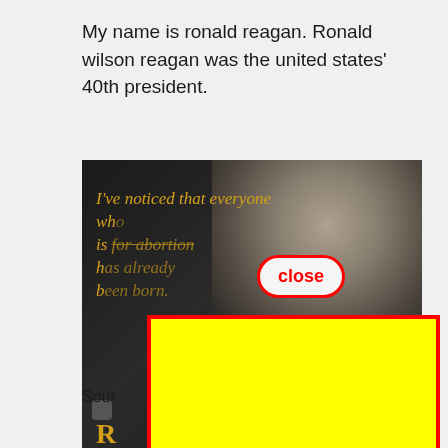My name is ronald reagan. Ronald wilson reagan was the united states' 40th president.
[Figure (photo): A photograph of Ronald Reagan with a quote overlay reading 'I've noticed that everyone who is for abortion has already been born.' overlaid with a yellow rectangle covering most of the lower image area, and a 'close' button overlaid on the image.]
Sour